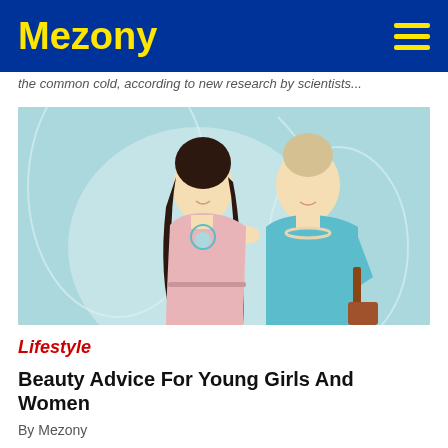Mezony
the common cold, according to new research by scientists...
[Figure (photo): Two women smiling together against a light teal background — a younger woman with dark hair wearing a pink dress with a teal crescent moon necklace, and an older blonde woman wearing a teal shirt with a pearl necklace, holding a bag.]
Lifestyle
Beauty Advice For Young Girls And Women
By Mezony